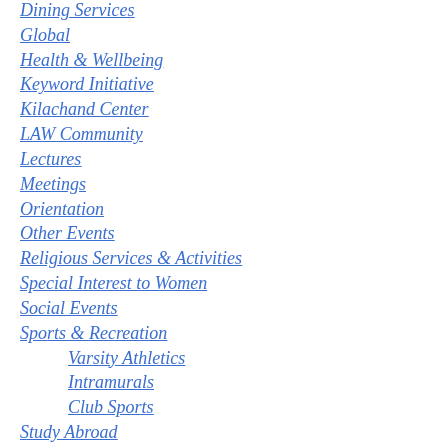Dining Services
Global
Health & Wellbeing
Keyword Initiative
Kilachand Center
LAW Community
Lectures
Meetings
Orientation
Other Events
Religious Services & Activities
Special Interest to Women
Social Events
Sports & Recreation
Varsity Athletics
Intramurals
Club Sports
Study Abroad